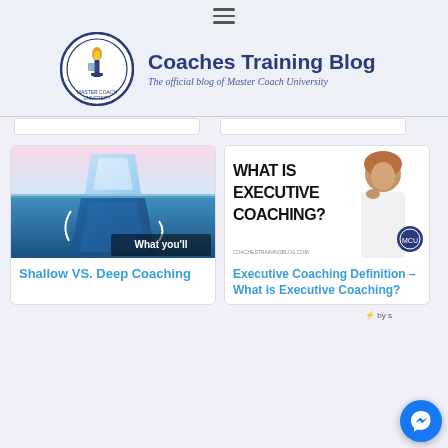[Figure (logo): Coaches Training Blog logo with circular badge and torch emblem]
Coaches Training Blog
The official blog of Master Coach University
[Figure (illustration): Iceberg illustration showing Shallow VS Deep concept with text 'What you'll']
Shallow VS. Deep Coaching
[Figure (illustration): Executive Coaching definition promotional image with woman thinking and text 'WHAT IS EXECUTIVE COACHING?' and watermark coachestrainingblog.com]
Executive Coaching Definition – What is Executive Coaching?